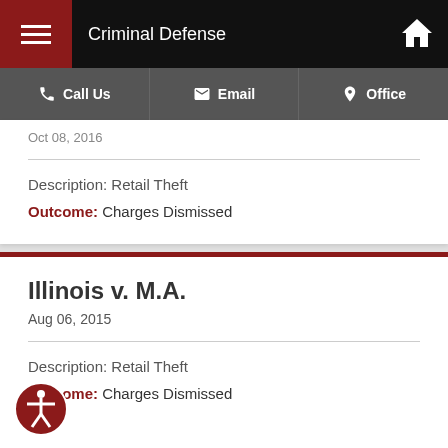Criminal Defense
Call Us | Email | Office
Oct 08, 2016
Description: Retail Theft
Outcome: Charges Dismissed
Illinois v. M.A.
Aug 06, 2015
Description: Retail Theft
Outcome: Charges Dismissed